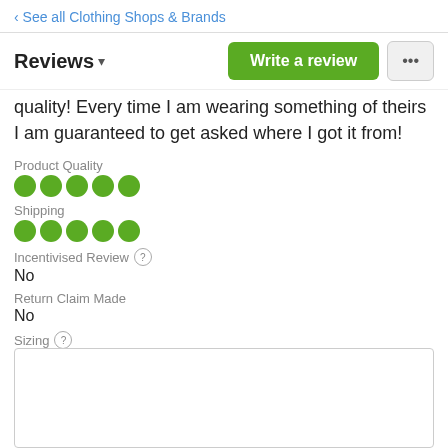‹ See all Clothing Shops & Brands
Reviews ▾
quality! Every time I am wearing something of theirs I am guaranteed to get asked where I got it from!
Product Quality
●●●●●
Shipping
●●●●●
Incentivised Review (?)
No
Return Claim Made
No
Sizing (?)